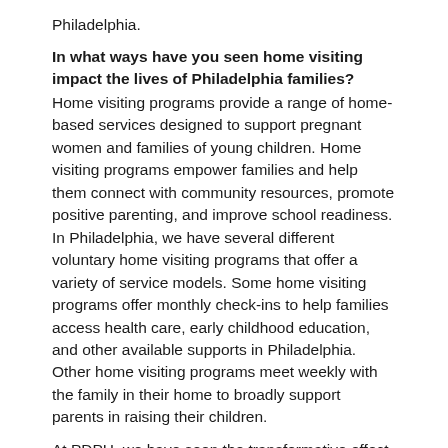Philadelphia.
In what ways have you seen home visiting impact the lives of Philadelphia families?
Home visiting programs provide a range of home-based services designed to support pregnant women and families of young children. Home visiting programs empower families and help them connect with community resources, promote positive parenting, and improve school readiness. In Philadelphia, we have several different voluntary home visiting programs that offer a variety of service models. Some home visiting programs offer monthly check-ins to help families access health care, early childhood education, and other available supports in Philadelphia. Other home visiting programs meet weekly with the family in their home to broadly support parents in raising their children.
At PDPH, we have seen the transformative effect that home visitors can have for families. In fact, several mothers who received home visiting support when their children were young are now PDPH Healthy Start home visitors themselves. One PDPH Breastfeeding Consultant remembers that her home visitor helped her stay in school, complete college, raise to healthy and productive members and more a great